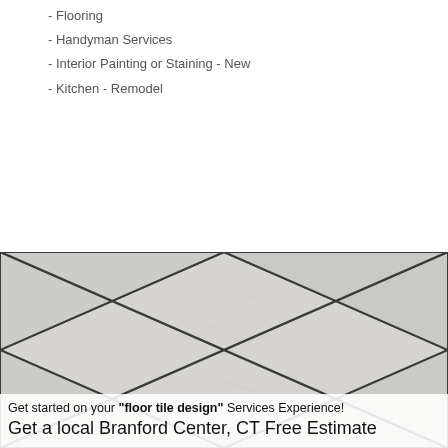- Flooring
- Handyman Services
- Interior Painting or Staining - New
- Kitchen - Remodel
[Figure (photo): Close-up photo of diagonal light gray floor tiles with dark grout lines forming an X pattern. Overlaid text at the bottom reads: 'Get started on your "floor tile design" Services Experience! Get a local Branford Center, CT Free Estimate']